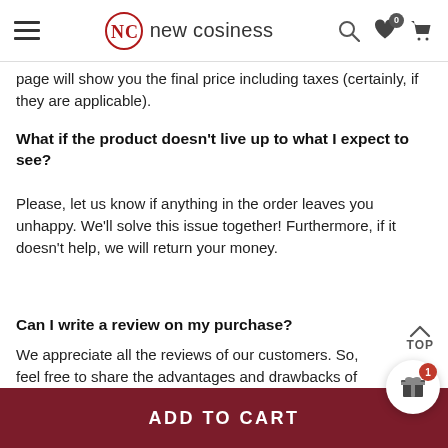new cosiness
page will show you the final price including taxes (certainly, if they are applicable).
What if the product doesn't live up to what I expect to see?
Please, let us know if anything in the order leaves you unhappy. We'll solve this issue together! Furthermore, if it doesn't help, we will return your money.
Can I write a review on my purchase?
We appreciate all the reviews of our customers. So, feel free to share the advantages and drawbacks of the product you've bought.